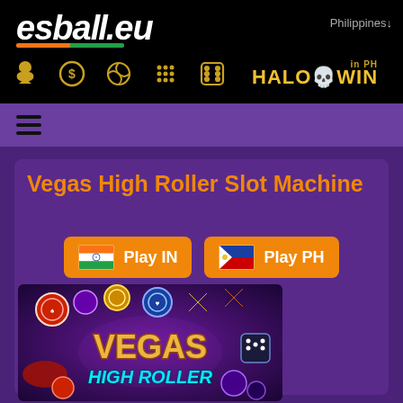[Figure (logo): esball.eu logo in white italic text with India/green underline stripe on black background]
Philippines↓
[Figure (infographic): Navigation icon row: club/card suit, dollar coin, basketball, dotted grid, dice icons in gold, plus HaloWin in PH logo]
[Figure (infographic): Purple navigation bar with hamburger menu icon]
Vegas High Roller Slot Machine
[Figure (infographic): Two orange buttons: Play IN with India flag, Play PH with Philippines flag]
[Figure (illustration): Vegas High Roller slot machine game artwork with colorful casino chips, dice, and Vegas High Roller text logo on purple/dark background]